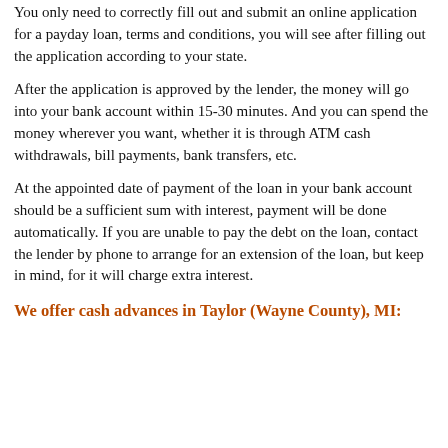You only need to correctly fill out and submit an online application for a payday loan, terms and conditions, you will see after filling out the application according to your state.
After the application is approved by the lender, the money will go into your bank account within 15-30 minutes. And you can spend the money wherever you want, whether it is through ATM cash withdrawals, bill payments, bank transfers, etc.
At the appointed date of payment of the loan in your bank account should be a sufficient sum with interest, payment will be done automatically. If you are unable to pay the debt on the loan, contact the lender by phone to arrange for an extension of the loan, but keep in mind, for it will charge extra interest.
We offer cash advances in Taylor (Wayne County), MI: